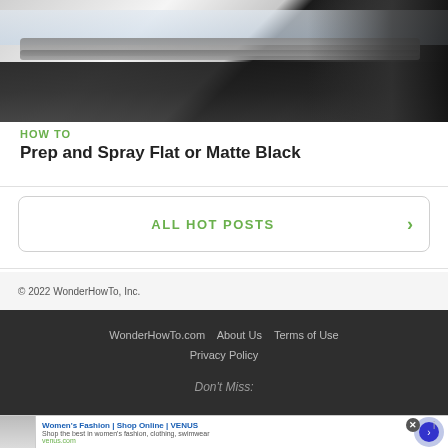[Figure (photo): Person in black shirt working with metal railing or bar, close-up of hands and torso]
HOW TO
Prep and Spray Flat or Matte Black
ALL HOT POSTS >
© 2022 WonderHowTo, Inc.
WonderHowTo.com   About Us   Terms of Use
Privacy Policy
Don't Miss:
[Figure (screenshot): Advertisement: Women's Fashion | Shop Online | VENUS - Shop the best in women's fashion, clothing, swimwear - venus.com]